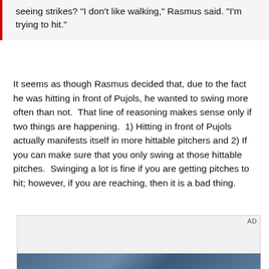seeing strikes? "I don't like walking," Rasmus said. "I'm trying to hit."
It seems as though Rasmus decided that, due to the fact he was hitting in front of Pujols, he wanted to swing more often than not.  That line of reasoning makes sense only if two things are happening.  1) Hitting in front of Pujols actually manifests itself in more hittable pitchers and 2) If you can make sure that you only swing at those hittable pitches.  Swinging a lot is fine if you are getting pitches to hit; however, if you are reaching, then it is a bad thing.
[Figure (other): Advertisement placeholder box with AD label, followed by a partial photo strip showing what appears to be a sports/stadium scene.]